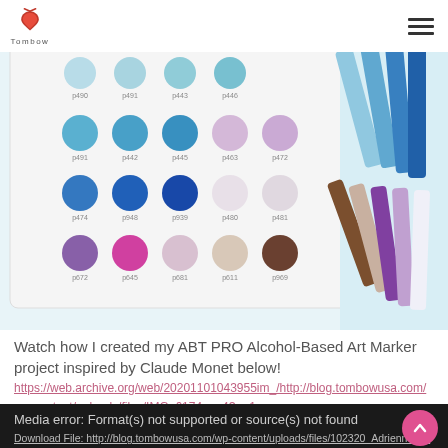Tombow logo and navigation menu
[Figure (photo): Overhead photo of Tombow ABT PRO Alcohol-Based Art Markers arranged in a fan, with a swatch card showing colored dots labeled with color codes in blues, purples, pinks, and neutrals]
Watch how I created my ABT PRO Alcohol-Based Art Marker project inspired by Claude Monet below!
https://web.archive.org/web/20201101043955im_/http://blog.tombowusa.com/wp-content/uploads/files/IMG_6174.mp4?_=1
Media error: Format(s) not supported or source(s) not found
Download File: http://blog.tombowusa.com/wp-content/uploads/files/102320_Adrienne-Castleton_video.mp4?_=1